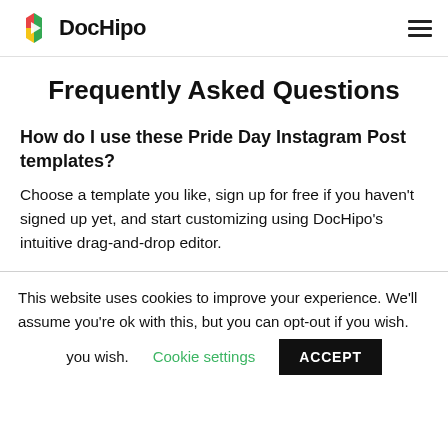DocHipo
Frequently Asked Questions
How do I use these Pride Day Instagram Post templates?
Choose a template you like, sign up for free if you haven't signed up yet, and start customizing using DocHipo's intuitive drag-and-drop editor.
This website uses cookies to improve your experience. We'll assume you're ok with this, but you can opt-out if you wish. Cookie settings ACCEPT